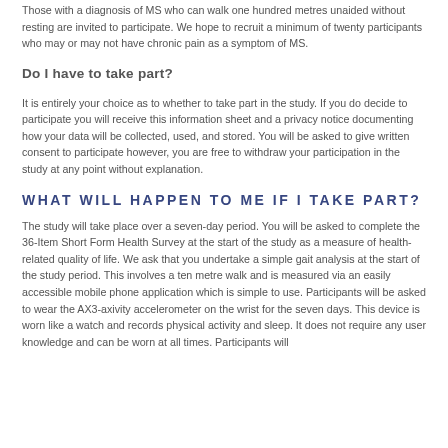Those with a diagnosis of MS who can walk one hundred metres unaided without resting are invited to participate. We hope to recruit a minimum of twenty participants who may or may not have chronic pain as a symptom of MS.
Do I have to take part?
It is entirely your choice as to whether to take part in the study. If you do decide to participate you will receive this information sheet and a privacy notice documenting how your data will be collected, used, and stored. You will be asked to give written consent to participate however, you are free to withdraw your participation in the study at any point without explanation.
WHAT WILL HAPPEN TO ME IF I TAKE PART?
The study will take place over a seven-day period. You will be asked to complete the 36-Item Short Form Health Survey at the start of the study as a measure of health-related quality of life. We ask that you undertake a simple gait analysis at the start of the study period. This involves a ten metre walk and is measured via an easily accessible mobile phone application which is simple to use. Participants will be asked to wear the AX3-axivity accelerometer on the wrist for the seven days. This device is worn like a watch and records physical activity and sleep. It does not require any user knowledge and can be worn at all times. Participants will